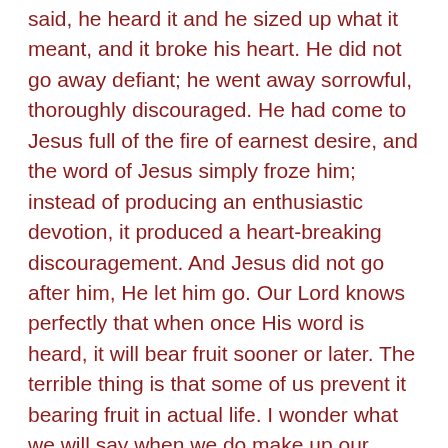said, he heard it and he sized up what it meant, and it broke his heart. He did not go away defiant; he went away sorrowful, thoroughly discouraged. He had come to Jesus full of the fire of earnest desire, and the word of Jesus simply froze him; instead of producing an enthusiastic devotion, it produced a heart-breaking discouragement. And Jesus did not go after him, He let him go. Our Lord knows perfectly that when once His word is heard, it will bear fruit sooner or later. The terrible thing is that some of us prevent it bearing fruit in actual life. I wonder what we will say when we do make up our minds to be devoted to Him on that particular point? One thing is certain, He will never cast anything up at us."